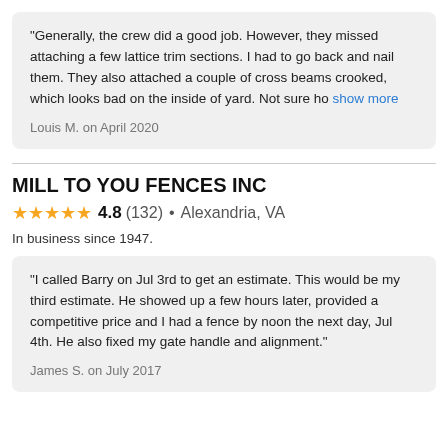"Generally, the crew did a good job. However, they missed attaching a few lattice trim sections. I had to go back and nail them. They also attached a couple of cross beams crooked, which looks bad on the inside of yard. Not sure ho show more
Louis M. on April 2020
MILL TO YOU FENCES INC
4.8 (132) • Alexandria, VA
In business since 1947.
"I called Barry on Jul 3rd to get an estimate. This would be my third estimate. He showed up a few hours later, provided a competitive price and I had a fence by noon the next day, Jul 4th. He also fixed my gate handle and alignment."
James S. on July 2017